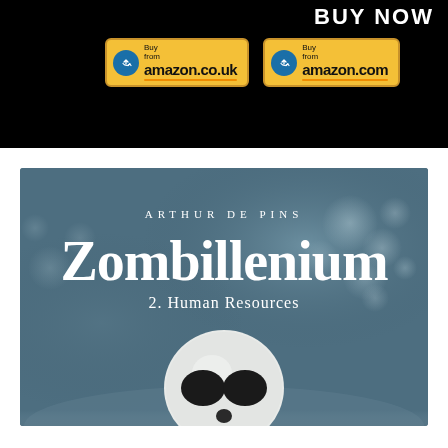BUY NOW
[Figure (illustration): Amazon.co.uk buy button with yellow background and blue arrow circle]
[Figure (illustration): Amazon.com buy button with yellow background and blue arrow circle]
[Figure (illustration): Book cover for Zombillenium 2. Human Resources by Arthur de Pins. Features large white title text on a dark blue-grey misty background with a white skull with dark eye sockets at the bottom center.]